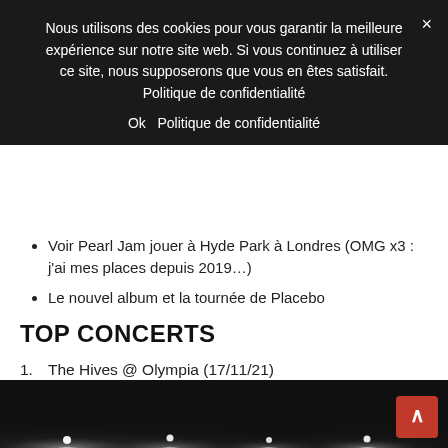Nous utilisons des cookies pour vous garantir la meilleure expérience sur notre site web. Si vous continuez à utiliser ce site, nous supposerons que vous en êtes satisfait. Politique de confidentialité
Ok   Politique de confidentialité
Voir Pearl Jam jouer à Hyde Park à Londres (OMG x3 : j'ai mes places depuis 2019…)
Le nouvel album et la tournée de Placebo
TOP CONCERTS
1.  The Hives @ Olympia (17/11/21)
2.  Global Live Citizen (25/09/21)
3.  Robert Jon And The Wreck @ Les Étoiles (14/09/21)
[Figure (photo): Black and white photo of concert stage lights shining through darkness, bottom strip of the page]